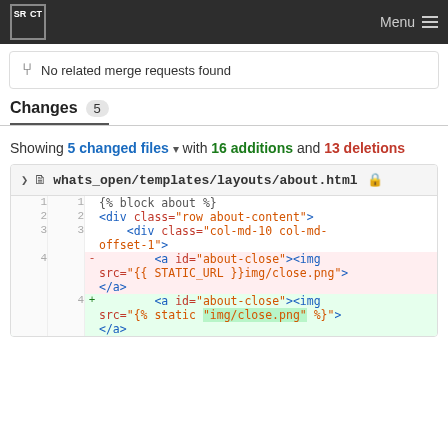SRCT Menu
No related merge requests found
Changes 5
Showing 5 changed files with 16 additions and 13 deletions
| old ln | new ln | op | code |
| --- | --- | --- | --- |
| 1 | 1 |  | {% block about %} |
| 2 | 2 |  | <div class="row about-content"> |
| 3 | 3 |  |     <div class="col-md-10 col-md-offset-1"> |
| 4 |  | - |         <a id="about-close"><img src="{{ STATIC_URL }}img/close.png"></a> |
|  | 4 | + |         <a id="about-close"><img src="{% static "img/close.png" %}"> |